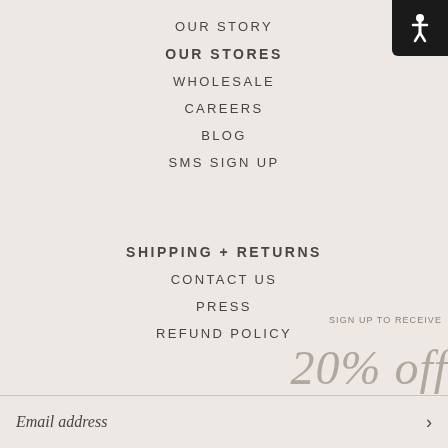OUR STORY
OUR STORES
WHOLESALE
CAREERS
BLOG
SMS SIGN UP
[Figure (infographic): Promotional overlay showing 'SIGN UP TO RECEIVE 20% off YOUR NEXT ORDER' with email input field, NEXT STEP button, and exclusions text, displayed on the right side of the navigation menu]
SHIPPING + RETURNS
CONTACT US
PRESS
REFUND POLICY
SIGN UP TO RECEIVE 20% OFF YOUR FIRST ORDER.
EXCLUSIONS MAY APPLY.
Email address